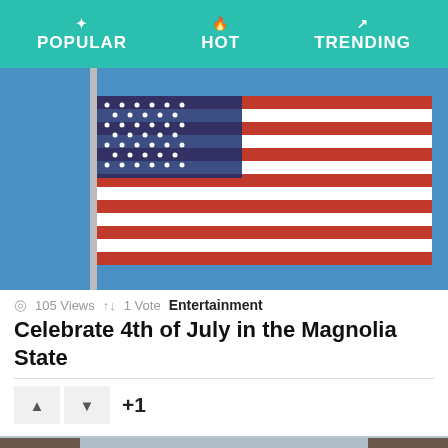POPULAR   HOT   TRENDING
[Figure (photo): American flag waving against a clear blue sky on a flagpole, close-up view showing red and white horizontal stripes]
105 Views  ↑↓ 1 Vote  Entertainment
Celebrate 4th of July in the Magnolia State
[Figure (photo): Street scene at dusk with two brick buildings on either side and string lights hanging across between them, against a pastel sky]